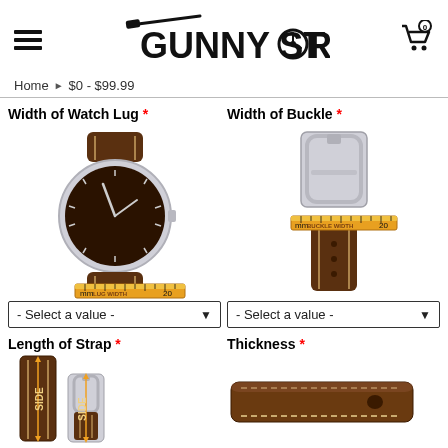GUNNY STORE
Home > $0 - $99.99
Width of Watch Lug *
[Figure (illustration): Illustration of a wristwatch with a ruler measuring the lug width, showing mm and 20 scale, labeled LUG WIDTH]
- Select a value -
Width of Buckle *
[Figure (illustration): Illustration of a watch buckle with a ruler measuring the buckle width, showing mm and 20 scale, labeled BUCKLE WIDTH]
- Select a value -
Length of Strap *
[Figure (illustration): Illustration of watch strap sides showing length measurement with arrows labeled SIDE]
Thickness *
[Figure (illustration): Illustration of a brown leather watch strap showing thickness]